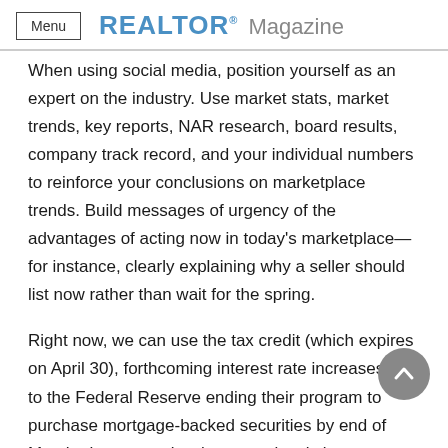Menu | REALTOR® Magazine
When using social media, position yourself as an expert on the industry. Use market stats, market trends, key reports, NAR research, board results, company track record, and your individual numbers to reinforce your conclusions on marketplace trends. Build messages of urgency of the advantages of acting now in today's marketplace—for instance, clearly explaining why a seller should list now rather than wait for the spring.
Right now, we can use the tax credit (which expires on April 30), forthcoming interest rate increases due to the Federal Reserve ending their program to purchase mortgage-backed securities by end of March, the current low inventory levels in most marketplaces, and